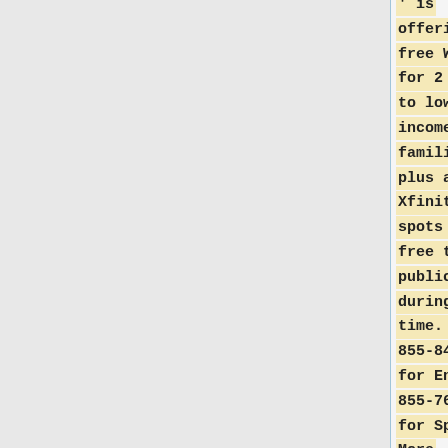' is offering free WiFi for 2 months to low income families, plus all Xfinity hot-spots are free to the public during this time. Call 855-846-8376 for English; 855-765-6995 for Spanish. More information at https://corp